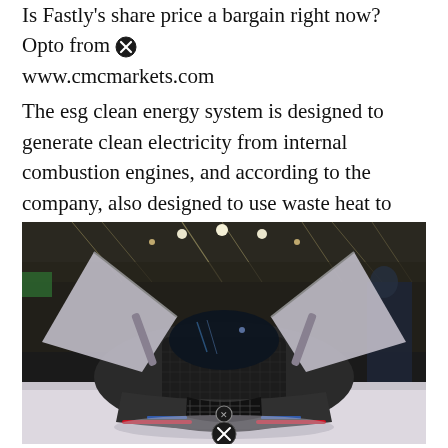Is Fastly's share price a bargain right now? Opto from www.cmcmarkets.com The esg clean energy system is designed to generate clean electricity from internal combustion engines, and according to the company, also designed to use waste heat to capture approximately 100%. Learn to invest your money into a clean energy future. But shares could take another major dive if ocean power can't turn its technology into a.
[Figure (photo): Front view of a sleek futuristic electric/concept car with butterfly doors open, photographed at what appears to be an auto show. The car is dark colored with carbon fiber details and a prominent hood design. The background shows an illuminated exhibition hall with crowds.]